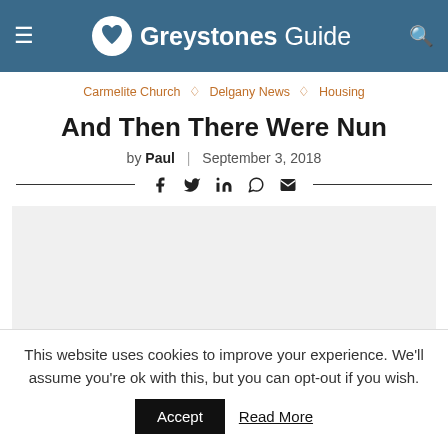Greystones Guide
Carmelite Church ◇ Delgany News ◇ Housing
And Then There Were Nun
by Paul | September 3, 2018
[Figure (other): Social share bar with Facebook, Twitter, LinkedIn, WhatsApp, and Email icons between two horizontal lines]
[Figure (other): Advertisement placeholder box, light grey background]
This website uses cookies to improve your experience. We'll assume you're ok with this, but you can opt-out if you wish.
Accept   Read More